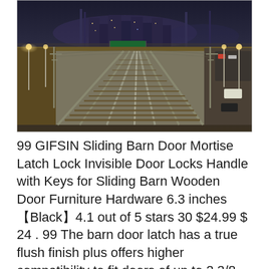[Figure (photo): Aerial night view of railway tracks converging toward a city skyline with orange-lit surroundings, utility poles, and a highway on the right side.]
99 GIFSIN Sliding Barn Door Mortise Latch Lock Invisible Door Locks Handle with Keys for Sliding Barn Wooden Door Furniture Hardware 6.3 inches【Black】4.1 out of 5 stars 30 $24.99 $ 24 . 99 The barn door latch has a true flush finish plus offers higher compatibility to fit doors of up to 2 3/8-inches. The unit is also rust and corrosion-resistant to bring about prolonged use. Features: Jan 30, 2017 - Explore alisha Cain's board "barn latches" on